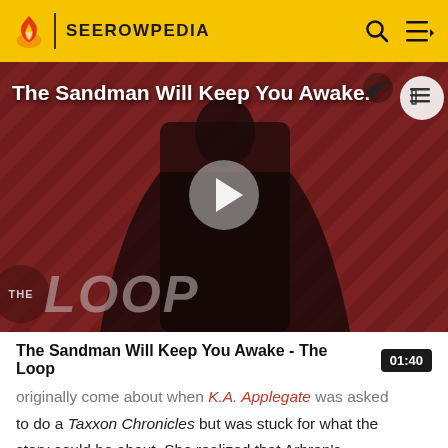SEEROWPEDIA
[Figure (screenshot): Video thumbnail for 'The Sandman Will Keep You Awake - The Loop' showing a figure in black against a red diagonal-striped background with 'THE LOOP' text overlay and a play button in the center.]
The Sandman Will Keep You Awake - The Loop
originally come about when K.A. Applegate was asked to do a Taxxon Chronicles but was stuck for what the story could be about. She realized that Arbron's struggles in leading a Taxxon resistance would make